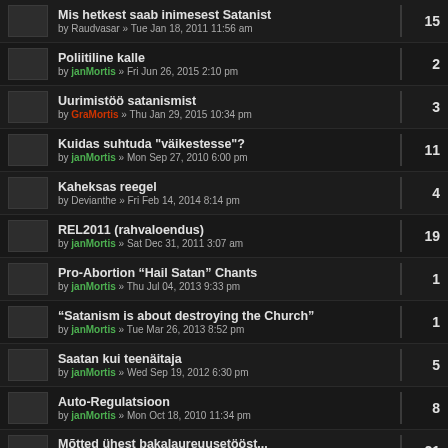Mis hetkest saab inimesest Satanist — by Raudvasar » Tue Jan 18, 2011 11:56 am — 15
Poliitiline kalle — by janMortis » Fri Jun 26, 2015 2:10 pm — 2
Uurimistöö satanismist — by GraMortis » Thu Jan 29, 2015 10:34 pm — 3
Kuidas suhtuda "väikestesse"? — by janMortis » Mon Sep 27, 2010 6:00 pm — 11
Kaheksas reegel — by Devianthe » Fri Feb 14, 2014 8:14 pm — 4
REL2011 (rahvaloendus) — by janMortis » Sat Dec 31, 2011 3:07 am — 19
Pro-Abortion “Hail Satan” Chants — by janMortis » Thu Jul 04, 2013 9:33 pm — 1
“Satanism is about destroying the Church” — by janMortis » Tue Mar 26, 2013 8:52 pm — 1
Saatan kui teenäitaja — by janMortis » Wed Sep 19, 2012 6:30 pm — 5
Auto-Regulatsioon — by janMortis » Mon Oct 18, 2010 11:34 pm — 8
Mõtted ühest bakalaureuusetööst... — by janMortis » Fri Oct 22, 2010 12:06 am — 21